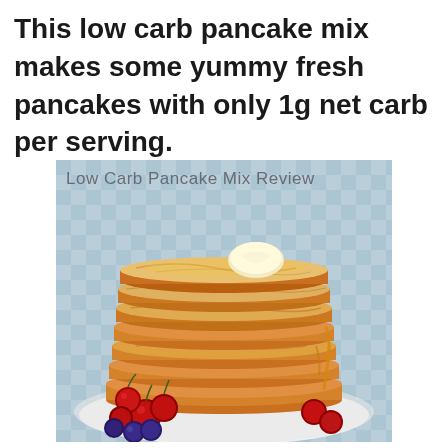This low carb pancake mix makes some yummy fresh pancakes with only 1g net carb per serving.
[Figure (photo): A tall stack of golden pancakes topped with a pat of butter, surrounded by fresh red cherries and blueberries on a white plate. Text overlay reads 'Low Carb Pancake Mix Review'.]